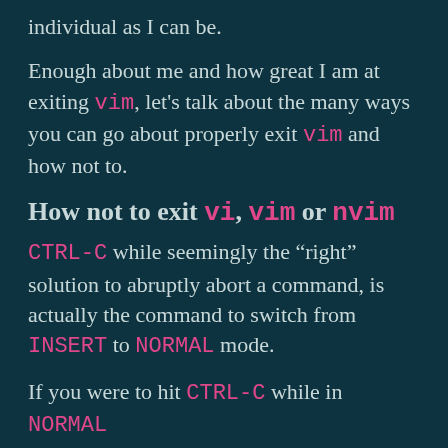individual as I can be.
Enough about me and how great I am at exiting vim, let's talk about the many ways you can go about properly exit vim and how not to.
How not to exit vi, vim or nvim
CTRL-C while seemingly the "right" solution to abruptly abort a command, is actually the command to switch from INSERT to NORMAL mode.
If you were to hit CTRL-C while in NORMAL